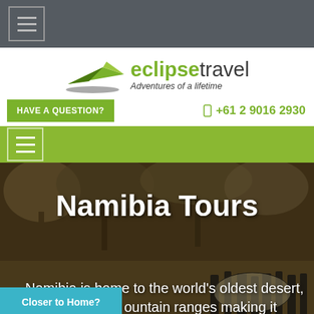[Figure (screenshot): Dark gray top navigation bar with hamburger menu icon]
[Figure (logo): Eclipse Travel logo with green paper plane and tagline 'Adventures of a lifetime']
HAVE A QUESTION?
+61 2 9016 2930
[Figure (screenshot): Green navigation bar with white hamburger menu icon]
Namibia Tours
Namibia is home to the world's oldest desert, the Namib, and ountain ranges making it
Closer to Home?